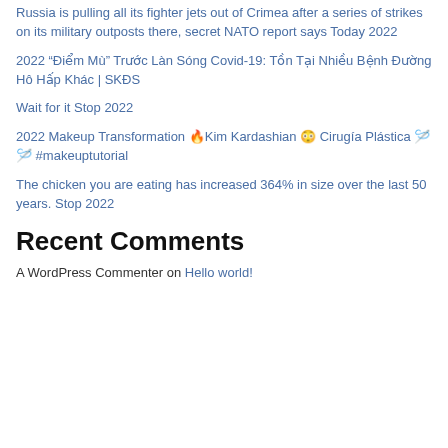Russia is pulling all its fighter jets out of Crimea after a series of strikes on its military outposts there, secret NATO report says Today 2022
2022 “Điểm Mù” Trước Làn Sóng Covid-19: Tồn Tại Nhiều Bệnh Đường Hô Hấp Khác | SKĐS
Wait for it Stop 2022
2022 Makeup Transformation 🔥Kim Kardashian 😳 Cirugía Plástica 🪡🪡 #makeuptutorial
The chicken you are eating has increased 364% in size over the last 50 years. Stop 2022
Recent Comments
A WordPress Commenter on Hello world!